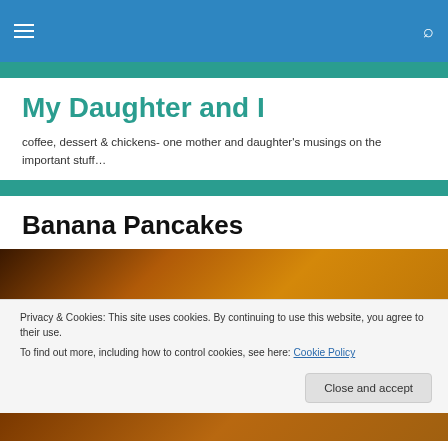Navigation bar with hamburger menu and search icon
My Daughter and I
coffee, dessert & chickens- one mother and daughter's musings on the important stuff…
Banana Pancakes
[Figure (photo): Close-up photo of banana pancakes, warm golden-brown tones]
Privacy & Cookies: This site uses cookies. By continuing to use this website, you agree to their use.
To find out more, including how to control cookies, see here: Cookie Policy
Close and accept